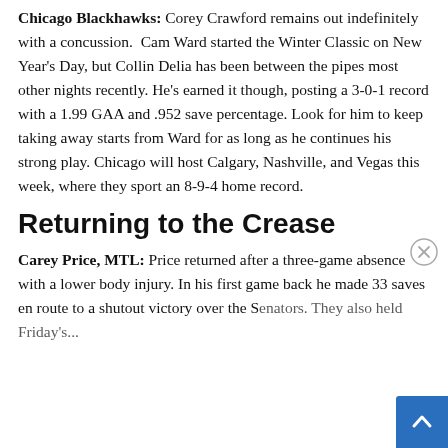Chicago Blackhawks: Corey Crawford remains out indefinitely with a concussion. Cam Ward started the Winter Classic on New Year's Day, but Collin Delia has been between the pipes most other nights recently. He's earned it though, posting a 3-0-1 record with a 1.99 GAA and .952 save percentage. Look for him to keep taking away starts from Ward for as long as he continues his strong play. Chicago will host Calgary, Nashville, and Vegas this week, where they sport an 8-9-4 home record.
Returning to the Crease
Carey Price, MTL: Price returned after a three-game absence with a lower body injury. In his first game back he made 33 saves en route to a shutout victory over the Senators. They also held Friday's...